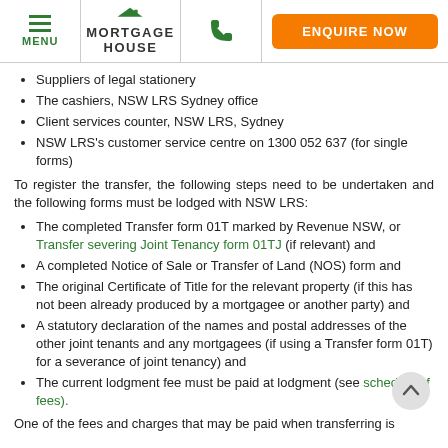MENU | MORTGAGE HOUSE | Phone | ENQUIRE NOW
Suppliers of legal stationery
The cashiers, NSW LRS Sydney office
Client services counter, NSW LRS, Sydney
NSW LRS's customer service centre on 1300 052 637 (for single forms)
To register the transfer, the following steps need to be undertaken and the following forms must be lodged with NSW LRS:
The completed Transfer form 01T marked by Revenue NSW, or Transfer severing Joint Tenancy form 01TJ (if relevant) and
A completed Notice of Sale or Transfer of Land (NOS) form and
The original Certificate of Title for the relevant property (if this has not been already produced by a mortgagee or another party) and
A statutory declaration of the names and postal addresses of the other joint tenants and any mortgagees (if using a Transfer form 01T) for a severance of joint tenancy) and
The current lodgment fee must be paid at lodgment (see schedule of fees).
One of the fees and charges that may be paid when transferring is